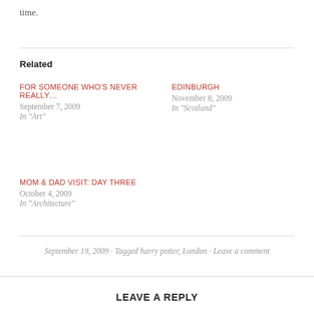time.
Related
FOR SOMEONE WHO'S NEVER REALLY…
September 7, 2009
In "Art"
EDINBURGH
November 8, 2009
In "Scotland"
MOM & DAD VISIT: DAY THREE
October 4, 2009
In "Architecture"
September 19, 2009 · Tagged harry potter, London · Leave a comment
LEAVE A REPLY